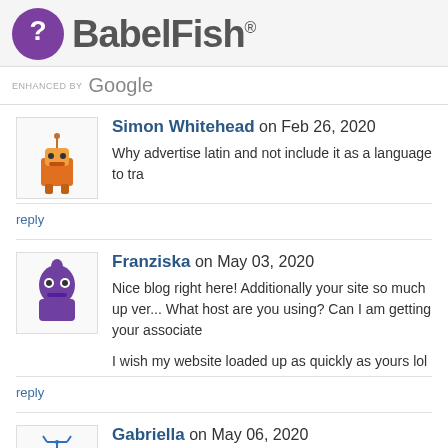[Figure (logo): BabelFish logo with purple speech bubble containing question mark and text BabelFish with registered trademark symbol]
ENHANCED BY Google
Simon Whitehead on Feb 26, 2020
Why advertise latin and not include it as a language to tra
reply
Franziska on May 03, 2020
Nice blog right here! Additionally your site so much up ver... What host are you using? Can I am getting your associate...

I wish my website loaded up as quickly as yours lol
reply
Gabriella on May 06, 2020
It's an amazing paragraph designed for all
the web viewers; they will take advantage from it I am su